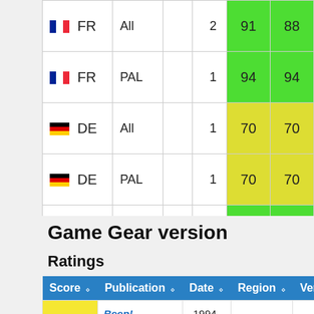|  | Region | Version | Count | Score1 | Score2 |
| --- | --- | --- | --- | --- | --- |
| FR | All |  | 2 | 91 | 88 |
| FR | PAL |  | 1 | 94 | 94 |
| DE | All |  | 1 | 70 | 70 |
| DE | PAL |  | 1 | 70 | 70 |
| ES | All |  | 1 | 87 | 87 |
Game Gear version
Ratings
| Score | Publication | Date | Region | Version |
| --- | --- | --- | --- | --- |
| 53 | Beep! MegaDrive | 1994-03-08 | JP | NTSC-J |
|  |  | 1993- |  |  |